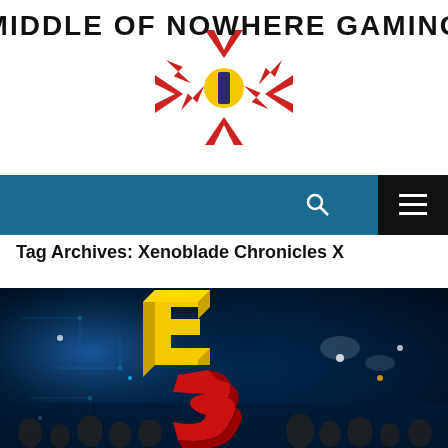[Figure (logo): Middle of Nowhere Gaming logo with stylized text and a decorative crosshair/lightning bolt emblem]
Tag Archives: Xenoblade Chronicles X
[Figure (photo): E3 gaming expo banner image showing large yellow and red E3 logos against a blue-lit arena background with crowd]